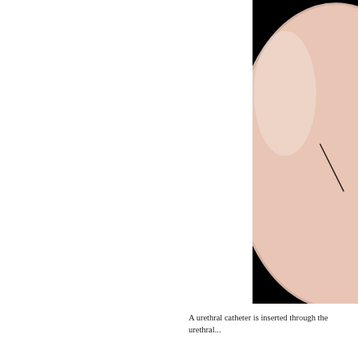[Figure (photo): Close-up photograph of a round light-pink/peach colored medical balloon (likely a Foley catheter balloon) against a black background, with a thin dark line/slit visible on its surface, suggesting a defect or mark.]
A urethral catheter is inserted through the urethral...